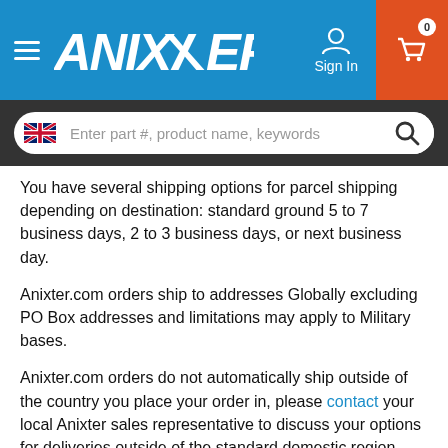Anixter - navigation header with logo, sign in, and cart
[Figure (screenshot): Anixter website header with blue navigation bar containing hamburger menu, Anixter logo, Sign In button, cart icon with 0 badge, and a search bar below with UK flag icon and placeholder text 'Enter part #, product name, keywords']
You have several shipping options for parcel shipping depending on destination: standard ground 5 to 7 business days, 2 to 3 business days, or next business day.
Anixter.com orders ship to addresses Globally excluding PO Box addresses and limitations may apply to Military bases.
Anixter.com orders do not automatically ship outside of the country you place your order in, please contact your local Anixter sales representative to discuss your options for deliveries outside of the standard domestic region.
In addition, Anixter.com offers multiple shipping options for products that cannot be shipped via parcel shipping.
Some of these options are:
Residential Delivery - A residential delivery charge applies to shipments to a home or private residence, including locations where a business is operated from a home, or to any shipment in which the shipper has designated the delivery address as a